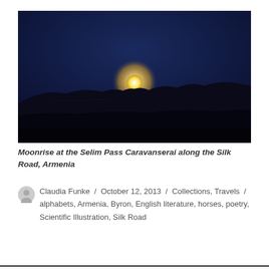[Figure (photo): Night photograph of a moonrise over dark silhouetted hills at the Selim Pass Caravanserai along the Silk Road, Armenia. The moon glows golden-white just above the hilltops against a deep blue-dark sky.]
Moonrise at the Selim Pass Caravanserai along the Silk Road, Armenia
Claudia Funke / October 12, 2013 / Collections, Travels / alphabets, Armenia, Byron, English literature, horses, poetry, Scientific Illustration, Silk Road